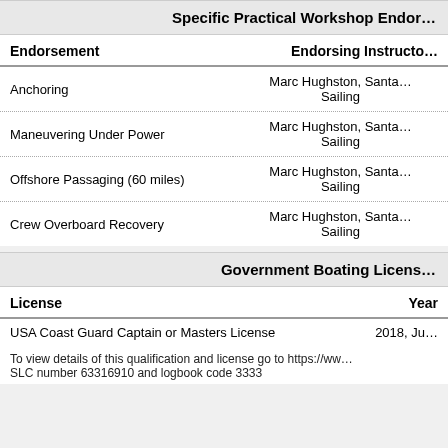Specific Practical Workshop Endorsements
| Endorsement | Endorsing Instructor |
| --- | --- |
| Anchoring | Marc Hughston, Santa Barbara Sailing |
| Maneuvering Under Power | Marc Hughston, Santa Barbara Sailing |
| Offshore Passaging (60 miles) | Marc Hughston, Santa Barbara Sailing |
| Crew Overboard Recovery | Marc Hughston, Santa Barbara Sailing |
Government Boating License
| License | Year |
| --- | --- |
| USA Coast Guard Captain or Masters License | 2018, Jun |
To view details of this qualification and license go to https://www... SLC number 63316910 and logbook code 3333